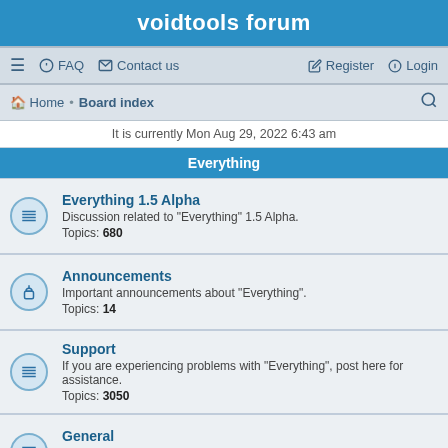voidtools forum
≡  FAQ  ✉ Contact us    Register  ⏻ Login
Home • Board index
It is currently Mon Aug 29, 2022 6:43 am
Everything
Everything 1.5 Alpha
Discussion related to "Everything" 1.5 Alpha.
Topics: 680
Announcements
Important announcements about "Everything".
Topics: 14
Support
If you are experiencing problems with "Everything", post here for assistance.
Topics: 3050
General
General discussion related to "Everything".
Topics: 1226
Suggestions
Have a suggestion for "Everything"? Please post it here.
Topics: 1390
Bug report